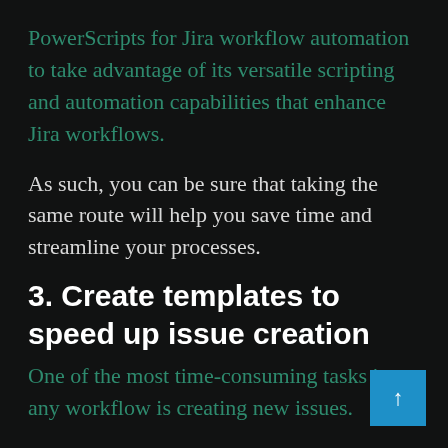PowerScripts for Jira workflow automation to take advantage of its versatile scripting and automation capabilities that enhance Jira workflows.
As such, you can be sure that taking the same route will help you save time and streamline your processes.
3. Create templates to speed up issue creation
One of the most time-consuming tasks in any workflow is creating new issues.